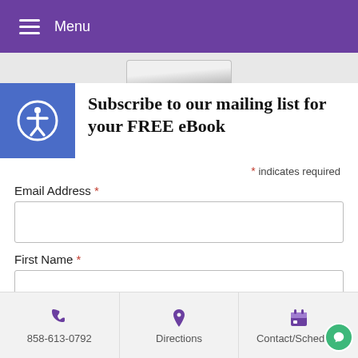Menu
[Figure (screenshot): Partially visible banner/image at top]
Subscribe to our mailing list for your FREE eBook
* indicates required
Email Address *
First Name *
Last Name *
858-613-0792   Directions   Contact/Schedu…